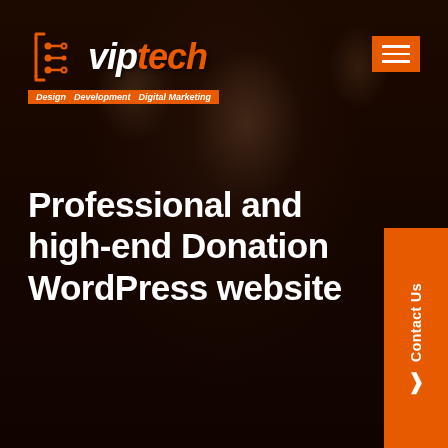[Figure (logo): VipTech logo with circuit-style icon, 'vip' in white italic bold and 'tech' in orange italic bold, with tagline bar 'Design Development Digital Marketing' in orange background]
[Figure (other): Orange hamburger menu icon (three horizontal lines) in top right corner]
Professional and high-end Donation WordPress website
[Figure (other): Orange vertical 'Contact Us' tab with arrow chevron on right side]